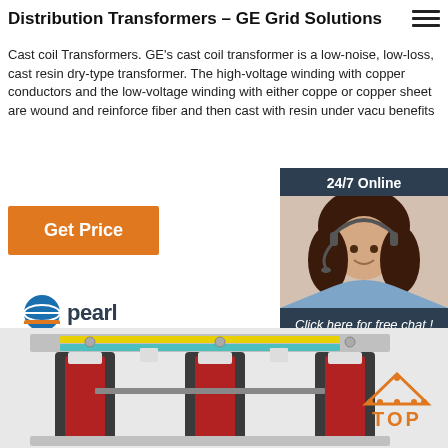Distribution Transformers – GE Grid Solutions
Cast coil Transformers. GE's cast coil transformer is a low-noise, low-loss, cast resin dry-type transformer. The high-voltage winding with copper conductors and the low-voltage winding with either copper or copper sheet are wound and reinforced with fiber and then cast with resin under vacuum benefits
[Figure (infographic): 24/7 Online chat widget with customer service agent photo, 'Click here for free chat!' text, and orange QUOTATION button]
[Figure (logo): Pearl company logo with blue globe icon and 'pearl' text]
[Figure (photo): Three-phase distribution transformer with red coil windings, multi-colored bus bars (yellow, teal), and silver mounting frame]
[Figure (infographic): TOP badge with orange triangle/dots icon and orange TOP text]